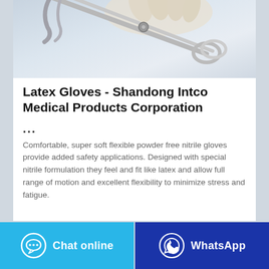[Figure (photo): Photo of surgical scissors/forceps held by a gloved hand, against a light blue-grey gradient background.]
Latex Gloves - Shandong Intco Medical Products Corporation
...
Comfortable, super soft flexible powder free nitrile gloves provide added safety applications. Designed with special nitrile formulation they feel and fit like latex and allow full range of motion and excellent flexibility to minimize stress and fatigue.
Chat online | WhatsApp